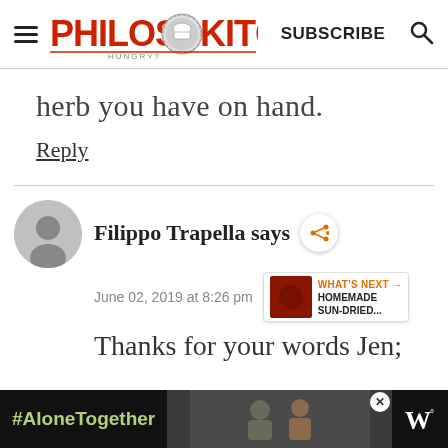Philos Kitchen — SUBSCRIBE
herb you have on hand.
Reply
Filippo Trapella says
June 02, 2019 at 8:26 pm
WHAT'S NEXT → HOMEMADE SUN-DRIED...
Thanks for your words Jen;
[Figure (infographic): #AloneTogether ad bar with photo of people and network logo]